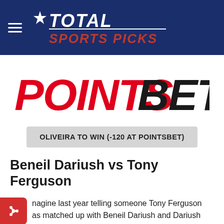Total Sports Picks
[Figure (logo): PointsBet logo — POINTS in red italic bold, BET in black italic bold]
OLIVEIRA TO WIN (-120 AT POINTSBET)
Beneil Dariush vs Tony Ferguson
magine last year telling someone Tony Ferguson as matched up with Beneil Dariush and Dariush